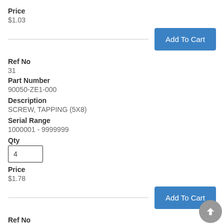Price
$1.03
Add To Cart
Ref No
31
Part Number
90050-ZE1-000
Description
SCREW, TAPPING (5X8)
Serial Range
1000001 - 9999999
Qty
4
Price
$1.78
Add To Cart
Ref No